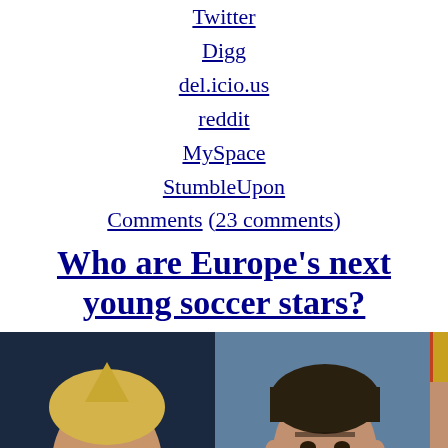Twitter
Digg
del.icio.us
reddit
MySpace
StumbleUpon
Comments (23 comments)
Who are Europe's next young soccer stars?
[Figure (photo): Three soccer players side by side: left player in blue Italy jersey with blonde spiky hair, center player in orange Netherlands jersey, right player partially visible in yellow/red Spain jersey.]